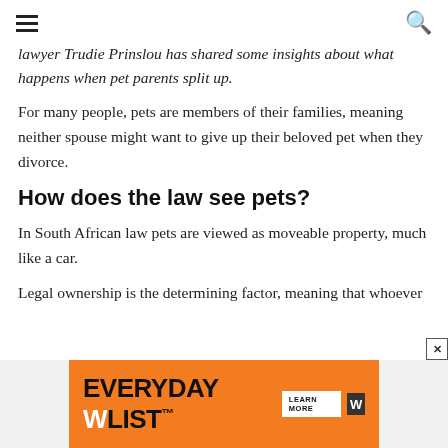[hamburger menu] [search icon]
lawyer Trudie Prinslou has shared some insights about what happens when pet parents split up.
For many people, pets are members of their families, meaning neither spouse might want to give up their beloved pet when they divorce.
How does the law see pets?
In South African law pets are viewed as moveable property, much like a car.
Legal ownership is the determining factor, meaning that whoever...
[Figure (infographic): Orange advertisement banner for EVERYDAY WLIST with LEARN MORE button and W logo]